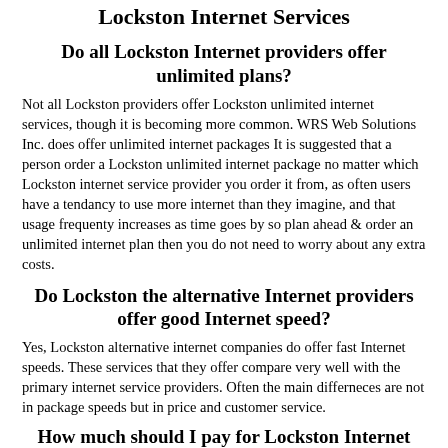Lockston Internet Services
Do all Lockston Internet providers offer unlimited plans?
Not all Lockston providers offer Lockston unlimited internet services, though it is becoming more common. WRS Web Solutions Inc. does offer unlimited internet packages It is suggested that a person order a Lockston unlimited internet package no matter which Lockston internet service provider you order it from, as often users have a tendancy to use more internet than they imagine, and that usage frequenty increases as time goes by so plan ahead & order an unlimited internet plan then you do not need to worry about any extra costs.
Do Lockston the alternative Internet providers offer good Internet speed?
Yes, Lockston alternative internet companies do offer fast Internet speeds. These services that they offer compare very well with the primary internet service providers. Often the main differneces are not in package speeds but in price and customer service.
How much should I pay for Lockston Internet per